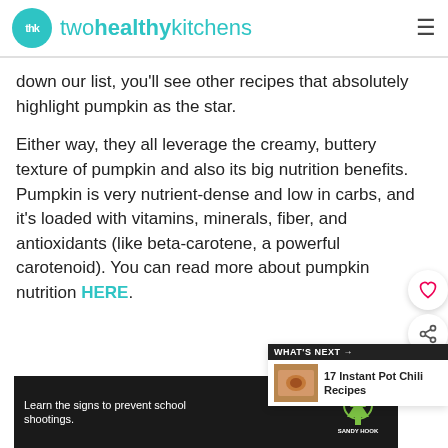twohealthykitchens
down our list, you'll see other recipes that absolutely highlight pumpkin as the star.
Either way, they all leverage the creamy, buttery texture of pumpkin and also its big nutrition benefits. Pumpkin is very nutrient-dense and low in carbs, and it's loaded with vitamins, minerals, fiber, and antioxidants (like beta-carotene, a powerful carotenoid). You can read more about pumpkin nutrition HERE.
[Figure (screenshot): What's Next widget showing '17 Instant Pot Chili Recipes' with a food thumbnail image]
[Figure (screenshot): Advertisement banner with text 'Learn the signs to prevent school shootings.' and Sandy Hook Promise logo on dark background]